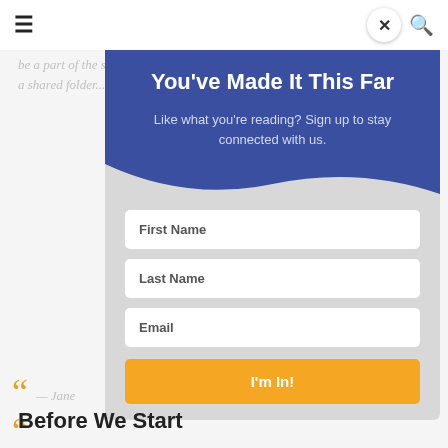[Figure (screenshot): Website popup modal overlay on a webpage about organizing content in Google Drive. The modal has a blue header with the title 'You've Made It This Far', subtitle 'Like what you're reading? Sign up to stay connected with us.', and a sign-up form with First Name, Last Name, Email fields and an 'I'm In!' button. Behind the modal, faded page content is visible including 'Dear Jane:' and body text about organizing for others, and a 'Before We Start' heading.]
You've Made It This Far
Like what you're reading? Sign up to stay connected with us.
First Name
Last Name
Email
I'm In!
Dear Jane:
Organizing for others can be a tough job. One of the challenges we face as human beings is that how we organize reflects our own sense of what goes where. If that sense of order is different than most, problems arise. How can you better organize content in Google Drive? Let's explore a few tips you may find helpful.
Before We Start